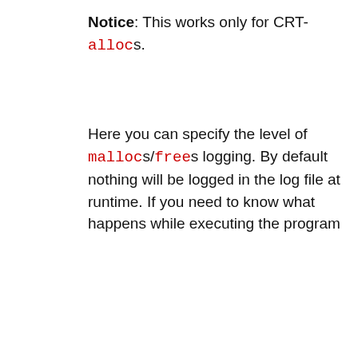Notice: This works only for CRT-allocs.
Here you can specify the level of mallocs/frees logging. By default nothing will be logged in the log file at runtime. If you need to know what happens while executing the program
ULONG
Then the ... be logged to ... hout callstack).
... output during ... (default). ... lloc action (malloc, realloc, free).
Like every other website we use cookies. By using our site you acknowledge that you have read and understand our Cookie Policy, Privacy Policy, and our Terms of Service. Learn more